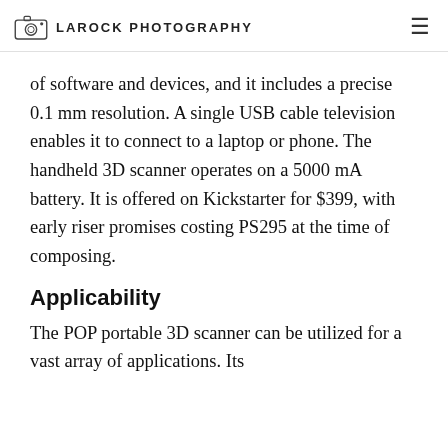LAROCK PHOTOGRAPHY
of software and devices, and it includes a precise 0.1 mm resolution. A single USB cable television enables it to connect to a laptop or phone. The handheld 3D scanner operates on a 5000 mA battery. It is offered on Kickstarter for $399, with early riser promises costing PS295 at the time of composing.
Applicability
The POP portable 3D scanner can be utilized for a vast array of applications. Its